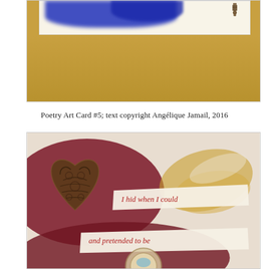[Figure (photo): Close-up photo of a poetry art card showing blue paint or feathers at the top against a cream card background, and a gold/bronze textured background below. A small decorative charm is visible in the upper right.]
Poetry Art Card #5; text copyright Angélique Jamail, 2016
[Figure (photo): Photo of a poetry art card featuring a wooden laser-cut filigree heart ornament on the left side, dark crimson/maroon textured fabric or paper, gold decorative papers, and two torn paper strips with red italic text reading 'I hid when I could' and 'and pretended to be'. A decorative element is visible at the bottom center.]